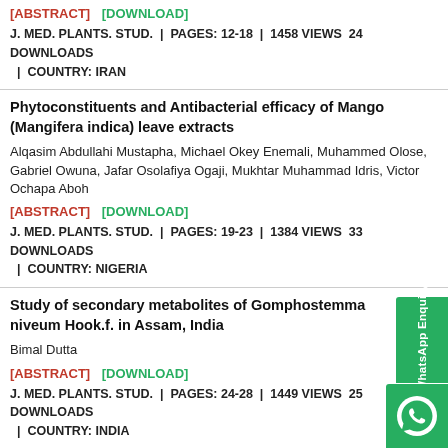[ABSTRACT]  [DOWNLOAD]
J. MED. PLANTS. STUD.  |  PAGES: 12-18  |  1458 VIEWS  24 DOWNLOADS  |  COUNTRY: IRAN
Phytoconstituents and Antibacterial efficacy of Mango (Mangifera indica) leave extracts
Alqasim Abdullahi Mustapha, Michael Okey Enemali, Muhammed Olose, Gabriel Owuna, Jafar Osolafiya Ogaji, Mukhtar Muhammad Idris, Victor Ochapa Aboh
[ABSTRACT]  [DOWNLOAD]
J. MED. PLANTS. STUD.  |  PAGES: 19-23  |  1384 VIEWS  33 DOWNLOADS  |  COUNTRY: NIGERIA
Study of secondary metabolites of Gomphostemma niveum Hook.f. in Assam, India
Bimal Dutta
[ABSTRACT]  [DOWNLOAD]
J. MED. PLANTS. STUD.  |  PAGES: 24-28  |  1449 VIEWS  25 DOWNLOADS  |  COUNTRY: INDIA
Growth and propagation aspects of some medicinally important trees Chandigarh, India: a review
Harjit Singh Dhillon, Anil Kumar Thakur and Kamal Jit Singh